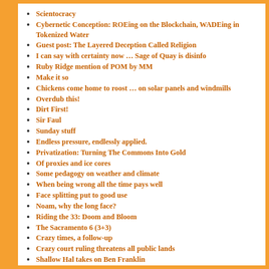Scientocracy
Cybernetic Conception: ROEing on the Blockchain, WADEing in Tokenized Water
Guest post: The Layered Deception Called Religion
I can say with certainty now … Sage of Quay is disinfo
Ruby Ridge mention of POM by MM
Make it so
Chickens come home to roost … on solar panels and windmills
Overdub this!
Dirt First!
Sir Faul
Sunday stuff
Endless pressure, endlessly applied.
Privatization: Turning The Commons Into Gold
Of proxies and ice cores
Some pedagogy on weather and climate
When being wrong all the time pays well
Face splitting put to good use
Noam, why the long face?
Riding the 33: Doom and Bloom
The Sacramento 6 (3+3)
Crazy times, a follow-up
Crazy court ruling threatens all public lands
Shallow Hal takes on Ben Franklin
Rocks, Rubble, and Roubles . . . and Boulé PsyActs?